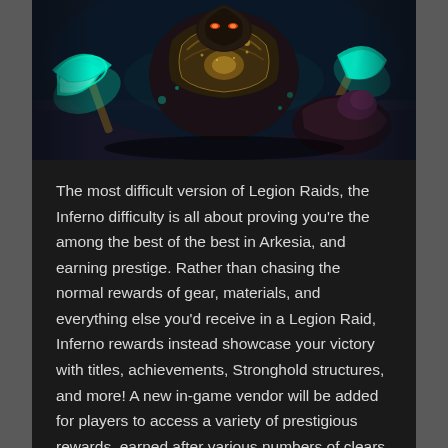[Figure (screenshot): A dark fantasy video game screenshot showing a large armored creature or boss with glowing cyan/teal weapons (axes), elaborate gold and black armor with chains, set in a dark dungeon environment. The image is from the game Lost Ark.]
The most difficult version of Legion Raids, the Inferno difficulty is all about proving you're the among the best of the best in Arkesia, and earning prestige. Rather than chasing the normal rewards of gear, materials, and everything else you'd receive in a Legion Raid, Inferno rewards instead showcase your victory with titles, achievements, Stronghold structures, and more! A new in-game vendor will be added for players to access a variety of prestigious rewards, earned after various numbers of clears.
There are a few key differences between